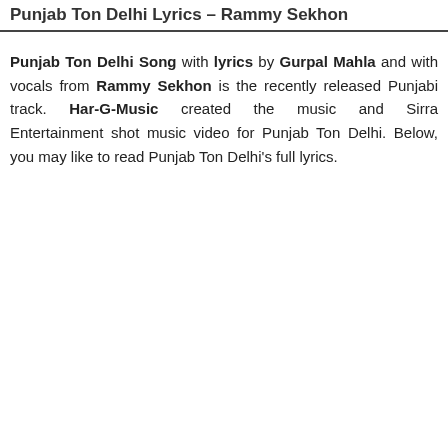Punjab Ton Delhi Lyrics – Rammy Sekhon
Punjab Ton Delhi Song with lyrics by Gurpal Mahla and with vocals from Rammy Sekhon is the recently released Punjabi track. Har-G-Music created the music and Sirra Entertainment shot music video for Punjab Ton Delhi. Below, you may like to read Punjab Ton Delhi's full lyrics.